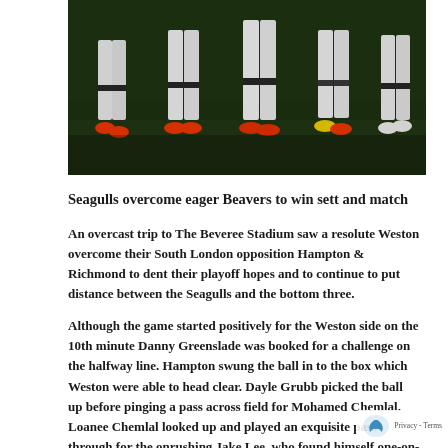[Figure (photo): Partial view of football/soccer players' legs and feet on a grass pitch, wearing white socks and red boots, during a match at dusk or under artificial lighting.]
Seagulls overcome eager Beavers to win sett and match
An overcast trip to The Beveree Stadium saw a resolute Weston overcome their South London opposition Hampton & Richmond to dent their playoff hopes and to continue to put distance between the Seagulls and the bottom three.
Although the game started positively for the Weston side on the 10th minute Danny Greenslade was booked for a challenge on the halfway line. Hampton swung the ball in to the box which Weston were able to head clear. Dayle Grubb picked the ball up before pinging a pass across field for Mohamed Chemlal. Loanee Chemlal looked up and played an exquisite pass through for the onrushing Jake Lee, who found himself one-on-one and put his shot out of the keepers' reach and into the corner.